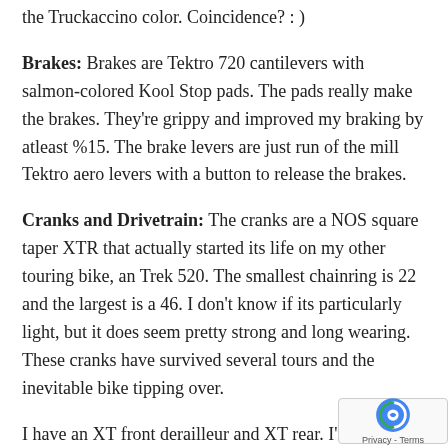the Truckaccino color. Coincidence? : )
Brakes: Brakes are Tektro 720 cantilevers with salmon-colored Kool Stop pads. The pads really make the brakes. They're grippy and improved my braking by atleast %15. The brake levers are just run of the mill Tektro aero levers with a button to release the brakes.
Cranks and Drivetrain: The cranks are a NOS square taper XTR that actually started its life on my other touring bike, an Trek 520. The smallest chainring is 22 and the largest is a 46. I don't know if its particularly light, but it does seem pretty strong and long wearing. These cranks have survived several tours and the inevitable bike tipping over.
I have an XT front derailleur and XT rear. I'm using